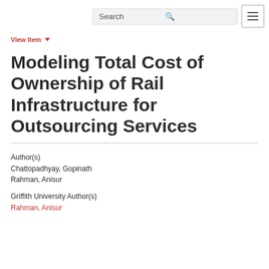Search [icon] [menu]
View Item ▾
Modeling Total Cost of Ownership of Rail Infrastructure for Outsourcing Services
Author(s)
Chattopadhyay, Gopinath
Rahman, Anisur
Griffith University Author(s)
Rahman, Anisur